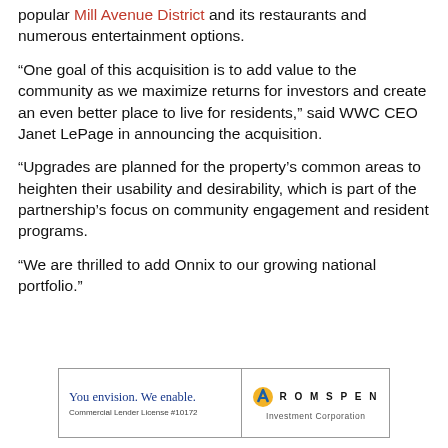popular Mill Avenue District and its restaurants and numerous entertainment options.
“One goal of this acquisition is to add value to the community as we maximize returns for investors and create an even better place to live for residents,” said WWC CEO Janet LePage in announcing the acquisition.
“Upgrades are planned for the property’s common areas to heighten their usability and desirability, which is part of the partnership’s focus on community engagement and resident programs.
“We are thrilled to add Onnix to our growing national portfolio.”
[Figure (logo): Romspen Investment Corporation advertisement banner. Left side: 'You envision. We enable.' tagline in blue serif text with 'Commercial Lender License #10172' below. Right side: Romspen logo with stylized arrow icon and 'ROMSPEN Investment Corporation' text.]